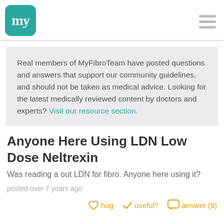my (MyFibroTeam logo)
Real members of MyFibroTeam have posted questions and answers that support our community guidelines, and should not be taken as medical advice. Looking for the latest medically reviewed content by doctors and experts? Visit our resource section.
Anyone Here Using LDN Low Dose Neltrexin
Was reading a out LDN for fibro. Anyone here using it?
posted over 7 years ago
hug   useful?   answer (9)